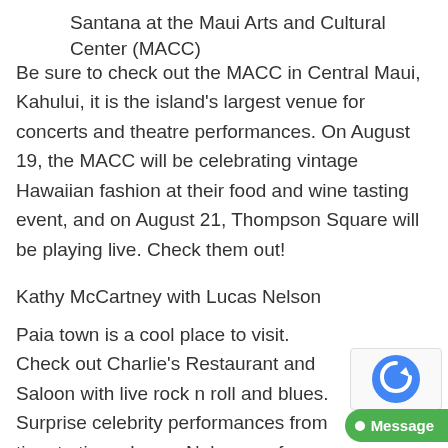Santana at the Maui Arts and Cultural Center (MACC)
Be sure to check out the MACC in Central Maui, Kahului, it is the island’s largest venue for concerts and theatre performances. On August 19, the MACC will be celebrating vintage Hawaiian fashion at their food and wine tasting event, and on August 21, Thompson Square will be playing live. Check them out!
Kathy McCartney with Lucas Nelson
Paia town is a cool place to visit.  Check out Charlie’s Restaurant and Saloon with live rock n roll and blues.  Surprise celebrity performances from time to time.  Lucas Nelson performs here; his father is famous Willie Nelson.  Lucas is a great talent and wh…